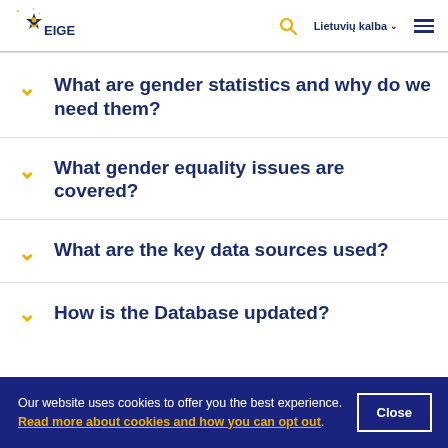EIGE — Lietuvių kalba
What are gender statistics and why do we need them?
What gender equality issues are covered?
What are the key data sources used?
How is the Database updated?
Our website uses cookies to offer you the best experience. Read more about cookies and how you can opt out.